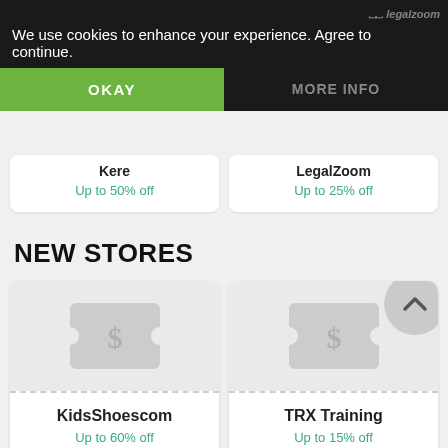We use cookies to enhance your experience. Agree to continue.
OKAY
MORE INFO
Kere
Up to 50% off
LegalZoom
Up to 25% off
NEW STORES
KidsShoescom
Up to 60% off
TRX Training
Up to 15% off